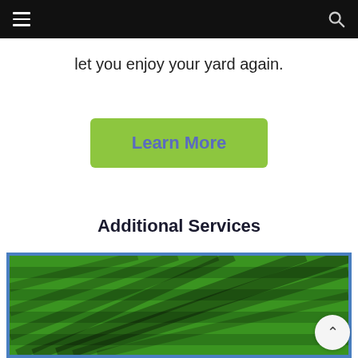Navigation bar with hamburger menu and search icon
let you enjoy your yard again.
Learn More
Additional Services
[Figure (photo): Close-up photograph of a neatly mowed green lawn with shadow patterns from tree branches creating radiating lines across the grass. The image has a blue border.]